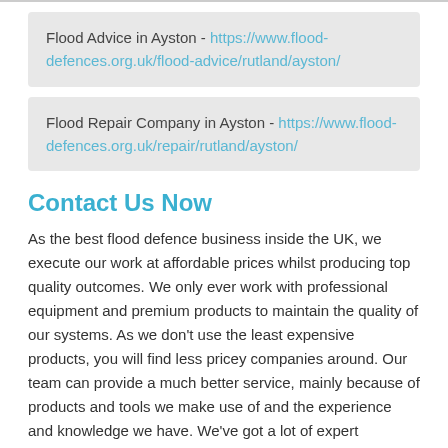Flood Advice in Ayston - https://www.flood-defences.org.uk/flood-advice/rutland/ayston/
Flood Repair Company in Ayston - https://www.flood-defences.org.uk/repair/rutland/ayston/
Contact Us Now
As the best flood defence business inside the UK, we execute our work at affordable prices whilst producing top quality outcomes. We only ever work with professional equipment and premium products to maintain the quality of our systems. As we don't use the least expensive products, you will find less pricey companies around. Our team can provide a much better service, mainly because of products and tools we make use of and the experience and knowledge we have. We've got a lot of expert knowledge inside the industry and many years of experience, meaning that you can rest and know that the installations will be done correctly.